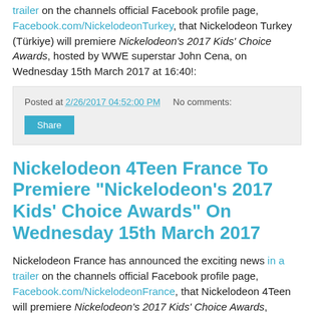trailer on the channels official Facebook profile page, Facebook.com/NickelodeonTurkey, that Nickelodeon Turkey (Türkiye) will premiere Nickelodeon's 2017 Kids' Choice Awards, hosted by WWE superstar John Cena, on Wednesday 15th March 2017 at 16:40!:
Posted at 2/26/2017 04:52:00 PM   No comments:
Share
Nickelodeon 4Teen France To Premiere "Nickelodeon's 2017 Kids' Choice Awards" On Wednesday 15th March 2017
Nickelodeon France has announced the exciting news in a trailer on the channels official Facebook profile page, Facebook.com/NickelodeonFrance, that Nickelodeon 4Teen will premiere Nickelodeon's 2017 Kids' Choice Awards, hosted by WWE superstar John Cena, on Wednesday 15th